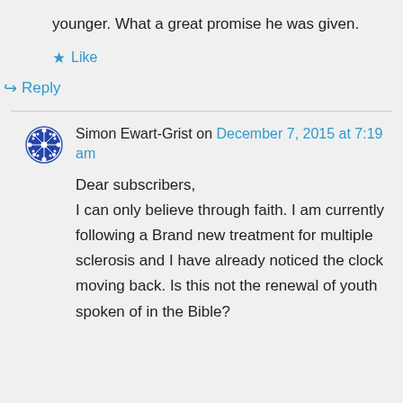younger. What a great promise he was given.
Like
Reply
Simon Ewart-Grist on December 7, 2015 at 7:19 am
Dear subscribers,
I can only believe through faith. I am currently following a Brand new treatment for multiple sclerosis and I have already noticed the clock moving back. Is this not the renewal of youth spoken of in the Bible?